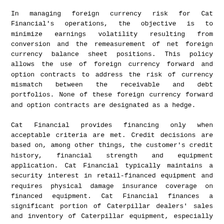In managing foreign currency risk for Cat Financial's operations, the objective is to minimize earnings volatility resulting from conversion and the remeasurement of net foreign currency balance sheet positions. This policy allows the use of foreign currency forward and option contracts to address the risk of currency mismatch between the receivable and debt portfolios. None of these foreign currency forward and option contracts are designated as a hedge.
Cat Financial provides financing only when acceptable criteria are met. Credit decisions are based on, among other things, the customer's credit history, financial strength and equipment application. Cat Financial typically maintains a security interest in retail-financed equipment and requires physical damage insurance coverage on financed equipment. Cat Financial finances a significant portion of Caterpillar dealers' sales and inventory of Caterpillar equipment, especially in North America. Cat Financial's competitive position is improved by marketing programs, subsidized by Caterpillar and/or Caterpillar dealers, which allow it to offer below-market interest rates. Under these programs, Caterpillar, or the dealer, subsidizes an amount at the outset of the transaction, which Cat Financial then recognizes as revenue over the term of the financing. Transaction processing time and supporting technologies continue to